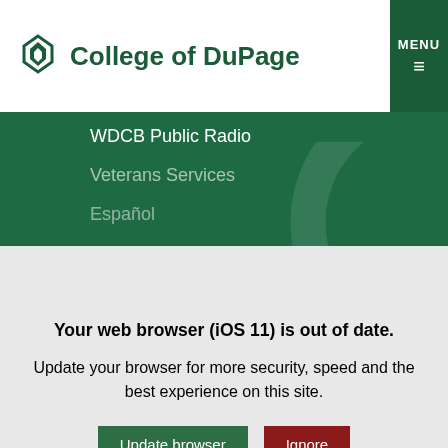College of DuPage
WDCB Public Radio
Veterans Services
Español
Accessibility
MyACCESS
COD NOW Newsletter
Your web browser (iOS 11) is out of date. Update your browser for more security, speed and the best experience on this site.
© 2022 College of DuPage